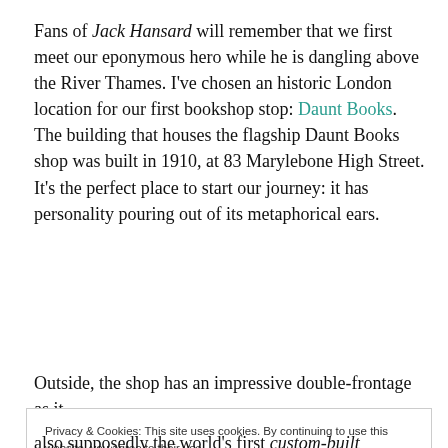Fans of Jack Hansard will remember that we first meet our eponymous hero while he is dangling above the River Thames. I've chosen an historic London location for our first bookshop stop: Daunt Books. The building that houses the flagship Daunt Books shop was built in 1910, at 83 Marylebone High Street. It's the perfect place to start our journey: it has personality pouring out of its metaphorical ears.
Outside, the shop has an impressive double-frontage as it
Privacy & Cookies: This site uses cookies. By continuing to use this website, you agree to their use.
To find out more, including how to control cookies, see here: Cookie Policy
Close and accept
also supposedly the world's first custom-built bookshop,